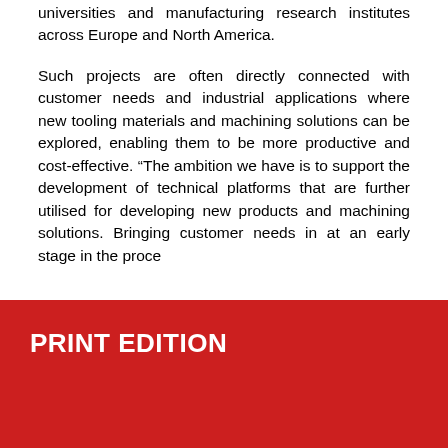universities and manufacturing research institutes across Europe and North America.
Such projects are often directly connected with customer needs and industrial applications where new tooling materials and machining solutions can be explored, enabling them to be more productive and cost-effective. “The ambition we have is to support the development of technical platforms that are further utilised for developing new products and machining solutions. Bringing customer needs in at an early stage in the proce...
PRINT EDITION